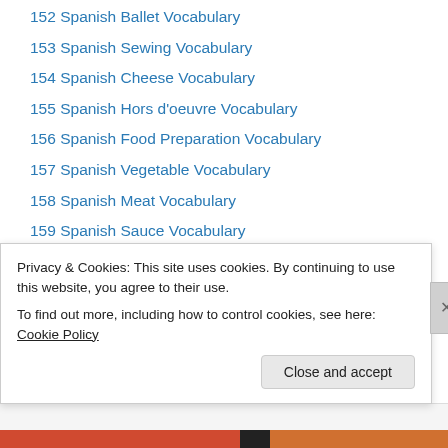152 Spanish Ballet Vocabulary
153 Spanish Sewing Vocabulary
154 Spanish Cheese Vocabulary
155 Spanish Hors d'oeuvre Vocabulary
156 Spanish Food Preparation Vocabulary
157 Spanish Vegetable Vocabulary
158 Spanish Meat Vocabulary
159 Spanish Sauce Vocabulary
160 Spanish Egg Vocabulary
161 Spanish Preserved Meats Vocabulary
162 Spanish Mediaeval Vocabulary
163 Spanish Fencing Terms
164 Spanish Import-Export Vocabulary
Privacy & Cookies: This site uses cookies. By continuing to use this website, you agree to their use. To find out more, including how to control cookies, see here: Cookie Policy